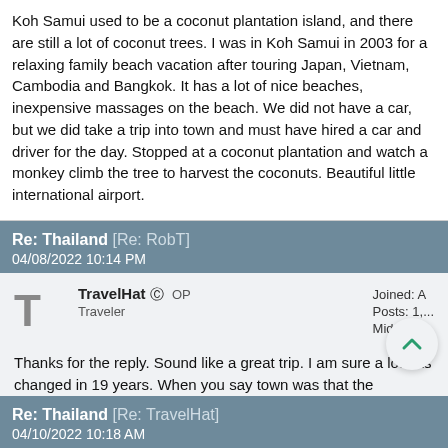Koh Samui used to be a coconut plantation island, and there are still a lot of coconut trees. I was in Koh Samui in 2003 for a relaxing family beach vacation after touring Japan, Vietnam, Cambodia and Bangkok. It has a lot of nice beaches, inexpensive massages on the beach. We did not have a car, but we did take a trip into town and must have hired a car and driver for the day. Stopped at a coconut plantation and watch a monkey climb the tree to harvest the coconuts. Beautiful little international airport.
Re: Thailand [Re: RobT] 04/08/2022 10:14 PM
TravelHat OP Traveler Joined: A Posts: 1,... Middle Te...
Thanks for the reply. Sound like a great trip. I am sure a lot has changed in 19 years. When you say town was that the fisherman's village? Did you stay resort or village.
Re: Thailand [Re: TravelHat] 04/10/2022 10:18 AM